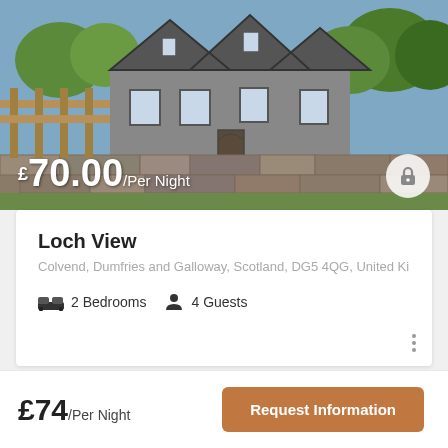[Figure (photo): Stone cottage house with gothic-style peaked roofs, surrounded by trees and a stone wall in the foreground, blue sky visible. Price overlay showing £70.00/Per Night.]
Loch View
Colvend, Dumfries and Galloway, Scotland, DG5 4QG, United Ki
2 Bedrooms  4 Guests
£74/Per Night
Request Information